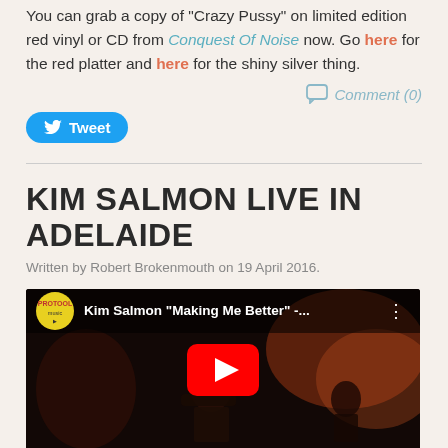You can grab a copy of "Crazy Pussy" on limited edition red vinyl or CD from Conquest Of Noise now. Go here for the red platter and here for the shiny silver thing.
Comment (0)
Tweet
KIM SALMON LIVE IN ADELAIDE
Written by Robert Brokenmouth on 19 April 2016.
[Figure (screenshot): YouTube video thumbnail showing Kim Salmon 'Making Me Better' live concert video with red play button overlay, dark stage lighting]